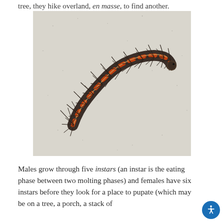tree, they hike overland, en masse, to find another.
[Figure (photo): A hairy caterpillar (likely a gypsy moth larva) with a dark body with orange/red markings and long dark radiating hairs, photographed against a light gray speckled surface.]
Males grow through five instars (an instar is the eating phase between two molting phases) and females have six instars before they look for a place to pupate (which may be on a tree, a porch, a stack of